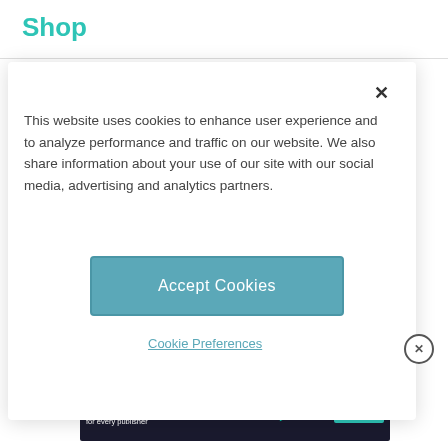Shop
This website uses cookies to enhance user experience and to analyze performance and traffic on our website. We also share information about your use of our site with our social media, advertising and analytics partners.
Accept Cookies
Cookie Preferences
an afterthought. Up your packing game,
and consider the best bag the
ADVERTISEMENT
Tailored ad management solutions for every publisher